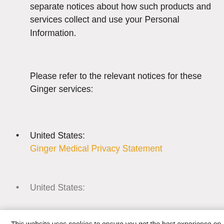separate notices about how such products and services collect and use your Personal Information.
Please refer to the relevant notices for these Ginger services:
United States: Ginger Medical Privacy Statement
United States:
This website uses cookies to ensure you get the best experience on our website.
Learn more
Decline
Dismiss
Cookie Preferences
We may revise this Privacy Statement from time to